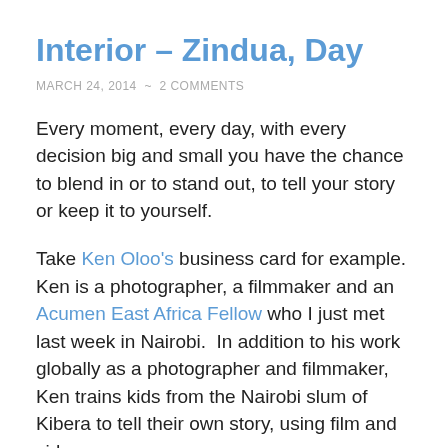Interior – Zindua, Day
MARCH 24, 2014  ~  2 COMMENTS
Every moment, every day, with every decision big and small you have the chance to blend in or to stand out, to tell your story or keep it to yourself.
Take Ken Oloo's business card for example.  Ken is a photographer, a filmmaker and an Acumen East Africa Fellow who I just met last week in Nairobi.  In addition to his work globally as a photographer and filmmaker, Ken trains kids from the Nairobi slum of Kibera to tell their own story, using film and video.